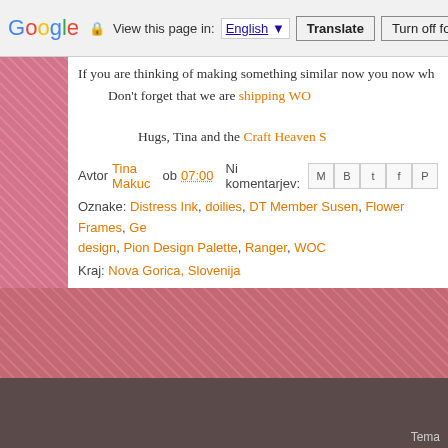Google | View this page in: English [▼] | Translate | Turn off for: S
If you are thinking of making something similar now you now wh
Don't forget that we are shipping WO
Hugs, Tina and the Craft Heaven S
Avtor Tina Makuc ob 07:00   Ni komentarjev:
Oznake: Distress Ink, doilies, DT Member Susen, Flower Frames, Ge design, Pion Design Palette, Ranger, WOC
Kraj: Nova Gorica, Slovenija
Novejše objave      Domov
Naročite se na: Objave (Atom)
Tema